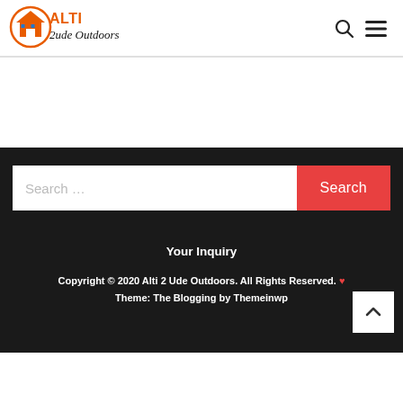[Figure (logo): Alti 2ude Outdoors logo with house icon and circular design in orange and blue]
Search icon and hamburger menu icon
Search ...
Search
Your Inquiry
Copyright © 2020 Alti 2 Ude Outdoors. All Rights Reserved. ❤ Theme: The Blogging by Themeinwp